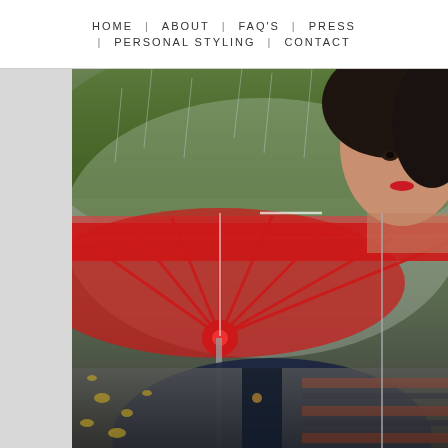HOME | ABOUT | FAQ'S | PRESS | PERSONAL STYLING | CONTACT
[Figure (photo): A woman holding a red and clear transparent umbrella in the rain outdoors. She has dark curly hair and red lipstick, wearing a navy jacket and striped top. Green grass and trees are visible in the background, with wet pavement below.]